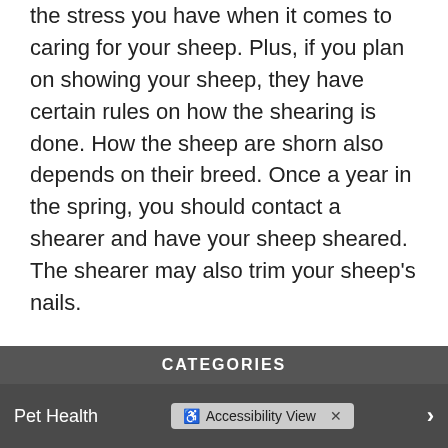the stress you have when it comes to caring for your sheep. Plus, if you plan on showing your sheep, they have certain rules on how the shearing is done. How the sheep are shorn also depends on their breed. Once a year in the spring, you should contact a shearer and have your sheep sheared. The shearer may also trim your sheep's nails.
Sheep have unique needs due to their wool. However, this doesn't make them bad pets. It just means that you have an extra step to take. Other than that, caring for sheep is relatively similar to other farm animals.
CATEGORIES
Pet Health